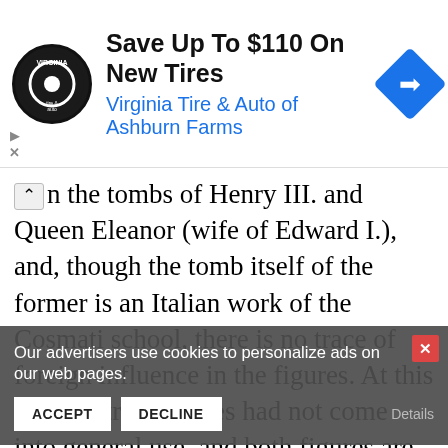[Figure (infographic): Advertisement banner for Virginia Tire & Auto of Ashburn Farms: Save Up To $110 On New Tires, with circular logo and blue diamond navigation icon]
n the tombs of Henry III. and Queen Eleanor (wife of Edward I.), and, though the tomb itself of the former is an Italian work of the Cosmati school, there is no trace of foreign influence in the figures. At this time portrait effigies had not come into general use, and both figures are treated in an ideal way. 3 The crowned head of Henry III., with noble well-modelled features and crisp wavy curls, resembles the conventional royal head on English coins of the following century, while the head of Eleanor is of remarkable, almost classical beauty and of great interest as showing the ideal type of the 13th century. In both cases the drapery is well conceived in
Our advertisers use cookies to personalize ads on our web pages.
ACCEPT   DECLINE   Details